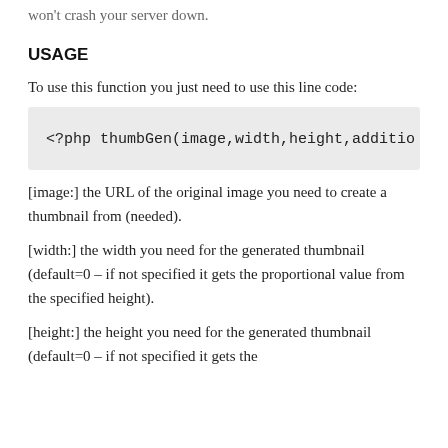won't crash your server down.
USAGE
To use this function you just need to use this line code:
<?php thumbGen(image,width,height,additio
[image:] the URL of the original image you need to create a thumbnail from (needed).
[width:] the width you need for the generated thumbnail (default=0 – if not specified it gets the proportional value from the specified height).
[height:] the height you need for the generated thumbnail (default=0 – if not specified it gets the proportional value from the specified width).